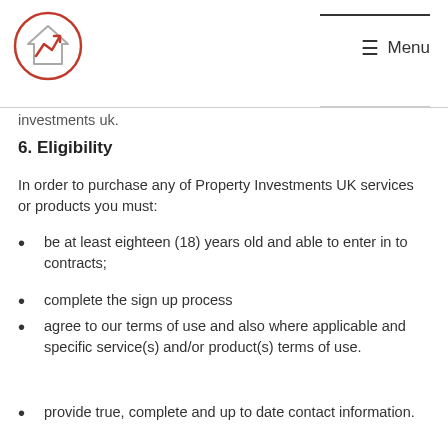Investments UK. [logo] Menu
investments uk.
6. Eligibility
In order to purchase any of Property Investments UK services or products you must:
be at least eighteen (18) years old and able to enter in to contracts;
complete the sign up process
agree to our terms of use and also where applicable and specific service(s) and/or product(s) terms of use.
provide true, complete and up to date contact information.